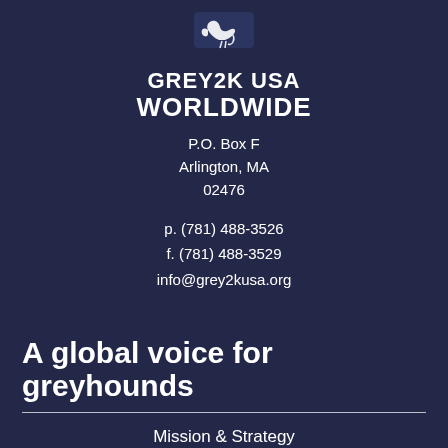[Figure (logo): Grey2K USA Worldwide logo with greyhound silhouette icon and organization name in bold white text on dark navy background]
P.O. Box F
Arlington, MA
02476
p. (781) 488-3526
f. (781) 488-3529
info@grey2kusa.org
A global voice for greyhounds
Mission & Strategy
Our Victories
Board